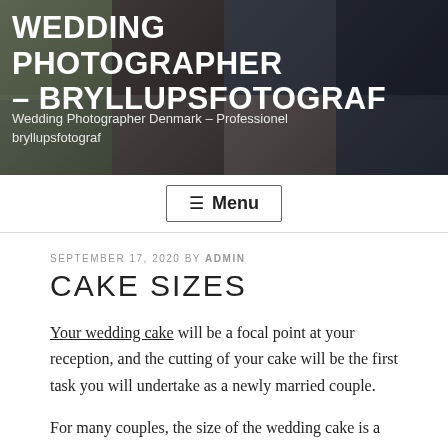[Figure (photo): Website header banner with collage of wedding photographs showing bride and groom, church interior, and wedding details]
WEDDING PHOTOGRAPHER – BRYLLUPSFOTOGRAF
Wedding Photographer Denmark – Professionel bryllupsfotograf
≡ Menu
SEPTEMBER 17, 2020 BY ADMIN
CAKE SIZES
Your wedding cake will be a focal point at your reception, and the cutting of your cake will be the first task you will undertake as a newly married couple.
For many couples, the size of the wedding cake is a balance of what you need and what you want, and